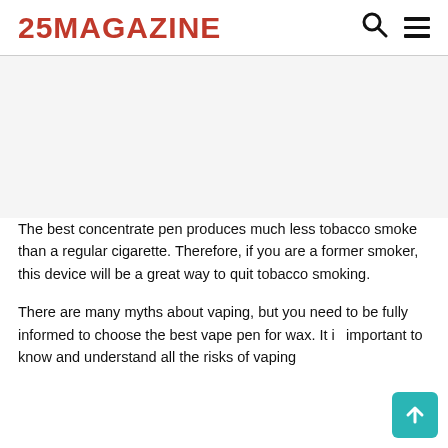25MAGAZINE
[Figure (photo): Empty white/light gray image area placeholder]
The best concentrate pen produces much less tobacco smoke than a regular cigarette. Therefore, if you are a former smoker, this device will be a great way to quit tobacco smoking.
There are many myths about vaping, but you need to be fully informed to choose the best vape pen for wax. It is important to know and understand all the risks of vaping